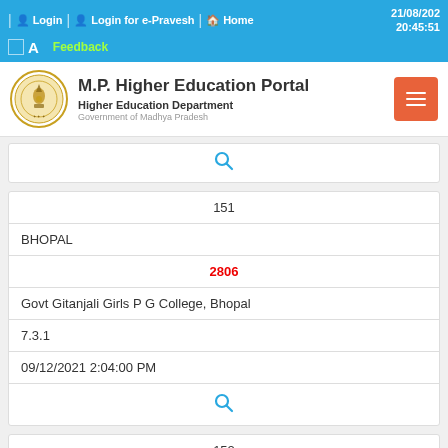Login | Login for e-Pravesh | Home  21/08/2021 20:45:51  A  Feedback
[Figure (logo): M.P. Higher Education Portal logo with state emblem]
M.P. Higher Education Portal
Higher Education Department
Government of Madhya Pradesh
| 151 |
| BHOPAL |
| 2806 |
| Govt Gitanjali Girls P G College, Bhopal |
| 7.3.1 |
| 09/12/2021 2:04:00 PM |
| [search icon] |
| 152 |
| BHOPAL |
| 2806 |